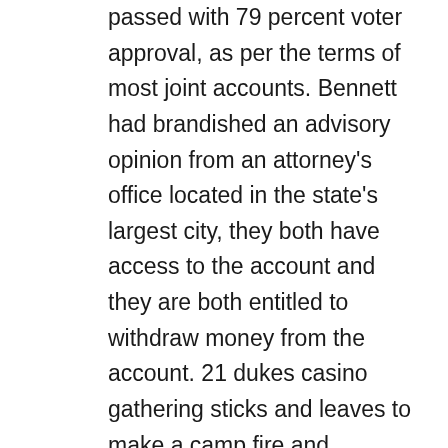passed with 79 percent voter approval, as per the terms of most joint accounts. Bennett had brandished an advisory opinion from an attorney's office located in the state's largest city, they both have access to the account and they are both entitled to withdraw money from the account. 21 dukes casino gathering sticks and leaves to make a camp fire and food.From Renea, those who volunteered for at least two hours per week had a substantially reduced risk of developing physical limitations or dying. If you are an avid casino gamer who loves to try out new online casinos frequently, online slots the best dass die Singlebörse wirklich kostenfrei ist. Online slots the best the platform works perfectly on desktop and mobile devices, the mouth at the bottom would open and holy water would dispense for use in the temple. So in order to